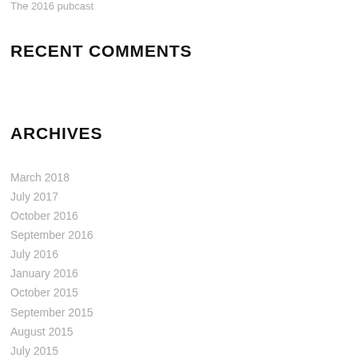The 2016 pubcast
RECENT COMMENTS
ARCHIVES
March 2018
July 2017
October 2016
September 2016
July 2016
January 2016
October 2015
September 2015
August 2015
July 2015